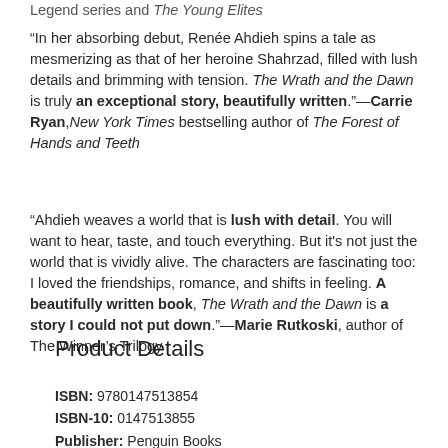Legend series and The Young Elites
“In her absorbing debut, Renée Ahdieh spins a tale as mesmerizing as that of her heroine Shahrzad, filled with lush details and brimming with tension. The Wrath and the Dawn is truly an exceptional story, beautifully written.”—Carrie Ryan, New York Times bestselling author of The Forest of Hands and Teeth
“Ahdieh weaves a world that is lush with detail. You will want to hear, taste, and touch everything. But it’s not just the world that is vividly alive. The characters are fascinating too: I loved the friendships, romance, and shifts in feeling. A beautifully written book, The Wrath and the Dawn is a story I could not put down.”—Marie Rutkoski, author of The Winner’s Trilogy
Product Details
ISBN: 9780147513854
ISBN-10: 0147513855
Publisher: Penguin Books
Publication Date: April 5th, 2016